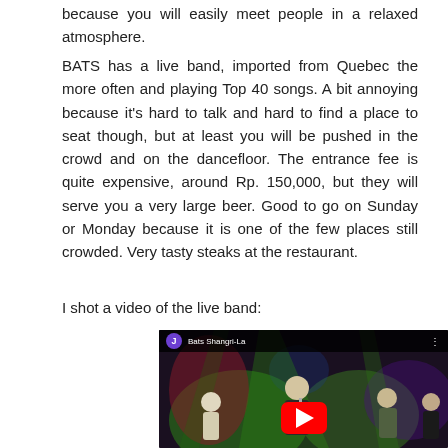because you will easily meet people in a relaxed atmosphere.
BATS has a live band, imported from Quebec the more often and playing Top 40 songs. A bit annoying because it's hard to talk and hard to find a place to seat though, but at least you will be pushed in the crowd and on the dancefloor. The entrance fee is quite expensive, around Rp. 150,000, but they will serve you a very large beer. Good to go on Sunday or Monday because it is one of the few places still crowded. Very tasty steaks at the restaurant.
I shot a video of the live band:
[Figure (screenshot): YouTube video thumbnail showing a live band performance at Bats Shangri-La. The video player shows musicians on stage with green stage lighting. A purple avatar with letter 'J' and the title 'Bats Shangri-La' appear in the top bar. A red YouTube play button is centered on the image.]